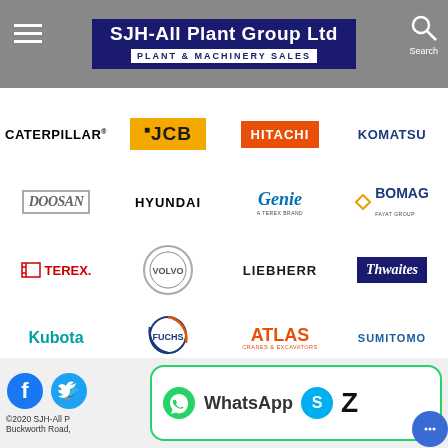SJH-All Plant Group Ltd — PLANT & MACHINERY SALES
[Figure (logo): CATERPILLAR brand logo in black bold text]
[Figure (logo): JCB brand logo in black on orange background]
[Figure (logo): HITACHI brand logo in white on orange background]
[Figure (logo): KOMATSU brand logo in dark blue bold text]
[Figure (logo): DOOSAN brand logo in grey italic bold with border]
[Figure (logo): HYUNDAI brand logo in black bold text]
[Figure (logo): Genie brand logo in blue italic with Terex Brando subtitle]
[Figure (logo): BOMAG brand logo in dark blue with diamond icon]
[Figure (logo): TEREX brand logo in red with box icon]
[Figure (logo): VOLVO circular brand logo in grey]
[Figure (logo): LIEBHERR brand logo in black bold text]
[Figure (logo): Thwaites brand logo in white italic on navy blue background]
[Figure (logo): Kubota brand logo in teal/cyan text]
[Figure (logo): FUCHS brand logo with circular emblem]
[Figure (logo): ATLAS Cranes & Excavators logo in orange]
[Figure (logo): SUMITOMO brand logo in blue bold text]
©2020 SJH-All P... Buckworth Road,